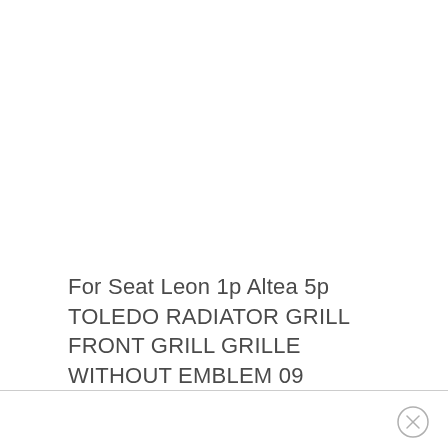For Seat Leon 1p Altea 5p TOLEDO RADIATOR GRILL FRONT GRILL GRILLE WITHOUT EMBLEM 09
[Figure (other): Close button (X) circle icon in bottom right area]